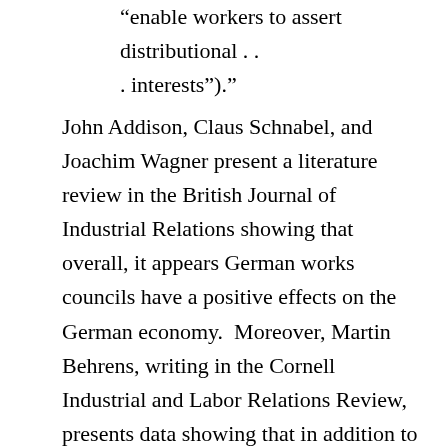“enable workers to assert distributional . . . interests”).”
John Addison, Claus Schnabel, and Joachim Wagner present a literature review in the British Journal of Industrial Relations showing that overall, it appears German works councils have a positive effects on the German economy.  Moreover, Martin Behrens, writing in the Cornell Industrial and Labor Relations Review, presents data showing that in addition to works councils and unions working together, work councils often play an important role in effectively recruiting new union members.